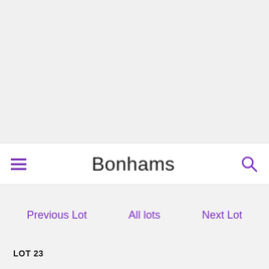[Figure (other): Large image area placeholder at top of Bonhams auction lot page]
Bonhams
Previous Lot
All lots
Next Lot
LOT 23